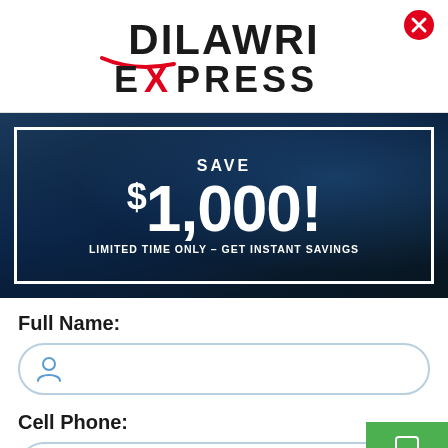[Figure (logo): Dilawri Express logo with red swoosh/checkmark and bold black lettering]
[Figure (infographic): Dark blue car interior background with white border overlay showing SAVE $1,000! LIMITED TIME ONLY – GET INSTANT SAVINGS promotional banner]
Full Name:
[Figure (screenshot): Input field with person/user icon for Full Name]
Cell Phone:
[Figure (screenshot): Input field with phone icon for Cell Phone]